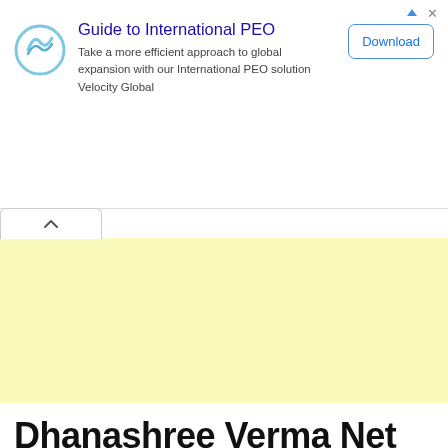[Figure (screenshot): Advertisement banner: Guide to International PEO — Take a more efficient approach to global expansion with our International PEO solution Velocity Global, with Download button]
[Figure (other): Large yellow/cream colored ad placeholder area with a collapse tab button (chevron up) on the left]
Dhanashree Verma Net Worth, Biography, Age, Family, Boyfriend and More